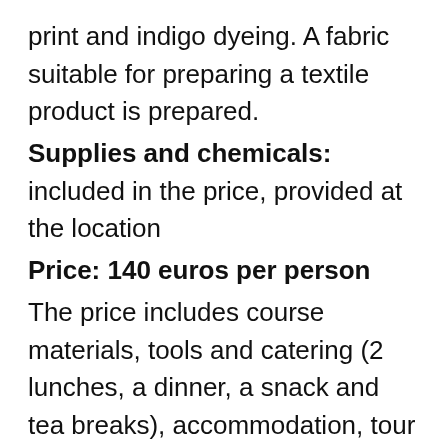print and indigo dyeing. A fabric suitable for preparing a textile product is prepared.
Supplies and chemicals: included in the price, provided at the location
Price: 140 euros per person
The price includes course materials, tools and catering (2 lunches, a dinner, a snack and tea breaks), accommodation, tour of the Peipsimaa Visitor Centre (including an exhibition of folk costumes made of indigo-dyed fabrics and the chicory museum) and use of bicycles/kick sledges during free time.